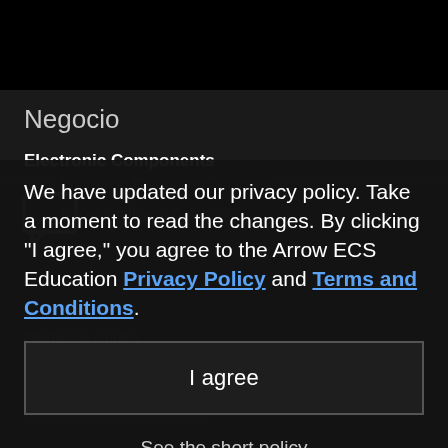Five Years Out
Negocio
Electronic Components
Enterprise Computing Solutions
Arrow Intelligent Solutions
We have updated our privacy policy. Take a moment to read the changes. By clicking "I agree," you agree to the Arrow ECS Education Privacy Policy and Terms and Conditions.
Ofertas de empleo
Corporate Social Responsibility
Relaciones con inversionistas
I agree
See the short policy